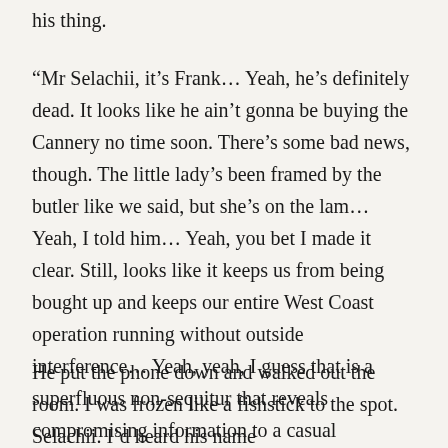his thing.
“Mr Selachii, it’s Frank… Yeah, he’s definitely dead. It looks like he ain’t gonna be buying the Cannery no time soon. There’s some bad news, though. The little lady’s been framed by the butler like we said, but she’s on the lam… Yeah, I told him… Yeah, you bet I made it clear. Still, looks like it keeps us from being bought up and keeps our entire West Coast operation running without outside interference… Yeah, yeah, I guess that is a superfluous non-sequitur that reveals compromising information to a casual eavesdropper.”
He put the phone down and walked out the room. I was frozen like a fishstick to the spot. Selachii. I’d heard his name